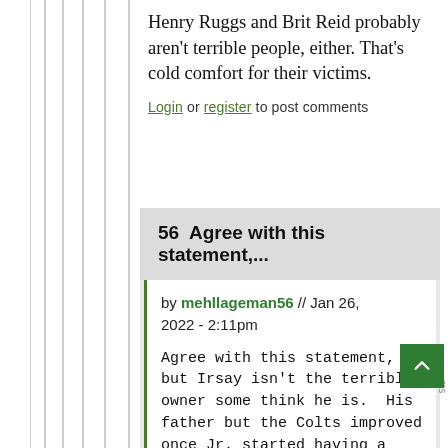Henry Ruggs and Brit Reid probably aren't terrible people, either. That's cold comfort for their victims.
Login or register to post comments
56  Agree with this statement,...
by mehllageman56 // Jan 26, 2022 - 2:11pm
Agree with this statement, but Irsay isn't the terrible owner some think he is.  His father but the Colts improved once Jr. started having a hand in things.
It's totally possible to be a great